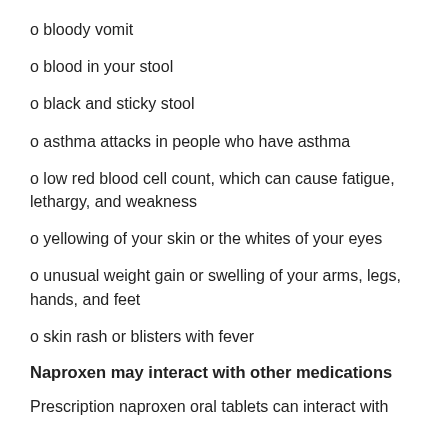o bloody vomit
o blood in your stool
o black and sticky stool
o asthma attacks in people who have asthma
o low red blood cell count, which can cause fatigue, lethargy, and weakness
o yellowing of your skin or the whites of your eyes
o unusual weight gain or swelling of your arms, legs, hands, and feet
o skin rash or blisters with fever
Naproxen may interact with other medications
Prescription naproxen oral tablets can interact with